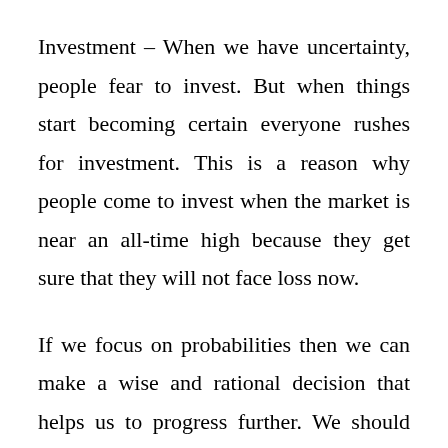Investment – When we have uncertainty, people fear to invest. But when things start becoming certain everyone rushes for investment. This is a reason why people come to invest when the market is near an all-time high because they get sure that they will not face loss now.
If we focus on probabilities then we can make a wise and rational decision that helps us to progress further. We should assign probabilities to the occurrence of different events so that we have statistical support to make a wise decision rather than just make it with support from emotions.